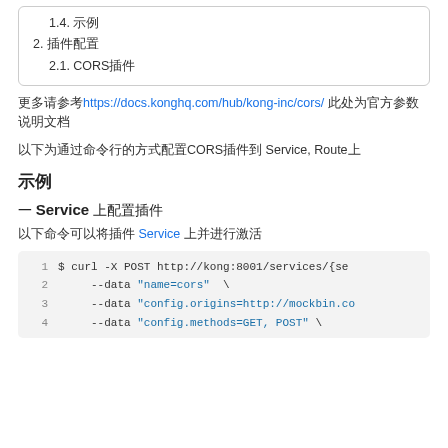1.4. 示例
2. 插件配置
2.1. CORS插件
更多请参考https://docs.konghq.com/hub/kong-inc/cors/ 此处为官方参数说明文档
以下为通过命令行的方式配置CORS插件到 Service, Route上
示例
一 Service 上配置插件
以下命令可以将插件 Service 上并进行激活
$ curl -X POST http://kong:8001/services/{se
     --data "name=cors"  \
     --data "config.origins=http://mockbin.co
     --data "config.methods=GET, POST" \